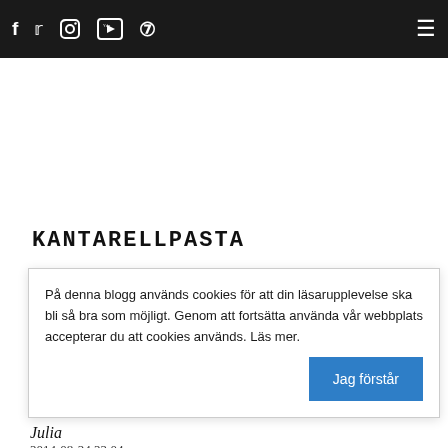Social icons: f, Twitter, Instagram, YouTube, 6 | Hamburger menu
KANTARELLPASTA
På denna blogg används cookies för att din läsarupplevelse ska bli så bra som möjligt. Genom att fortsätta använda vår webbplats accepterar du att cookies används. Läs mer.
115 COMMENTS
Julia
2014-08-24 22:04